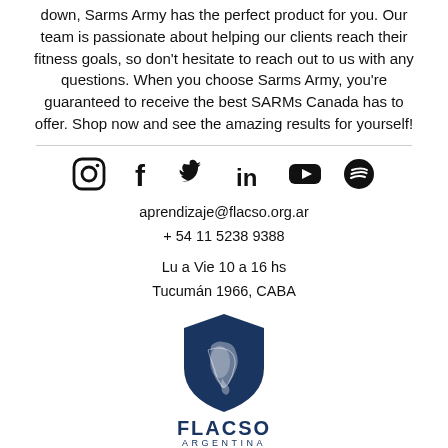down, Sarms Army has the perfect product for you. Our team is passionate about helping our clients reach their fitness goals, so don't hesitate to reach out to us with any questions. When you choose Sarms Army, you're guaranteed to receive the best SARMs Canada has to offer. Shop now and see the amazing results for yourself!
[Figure (infographic): Social media icons: Instagram, Facebook, Twitter, LinkedIn, YouTube, Spotify]
aprendizaje@flacso.org.ar
+ 54 11 5238 9388
Lu a Vie 10 a 16 hs
Tucumán 1966, CABA
[Figure (logo): FLACSO Argentina logo with shield containing South America map outline and text FLACSO ARGENTINA]
©2022 FLACSO Argentina